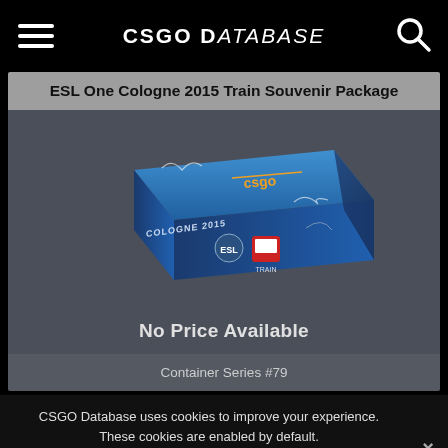CSGO Database
ESL One Cologne 2015 Train Souvenir Package
[Figure (photo): A CS:GO souvenir package box for ESL One Cologne 2015 Train, shown at an angle. Blue box with COLOGNE 2015 text, CS:GO logo, ESL One logo, and Train map icon with autographs.]
No Price Available
Container Series #79
CSGO Database uses cookies to improve your experience. These cookies are enabled by default.
Accept the use of cookies
Privacy policy